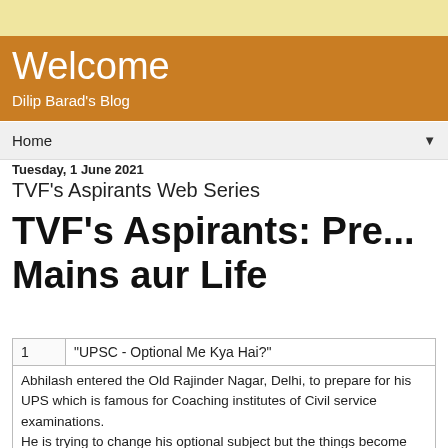Welcome
Dilip Barad's Blog
Home ▼
Tuesday, 1 June 2021
TVF's Aspirants Web Series
TVF's Aspirants: Pre... Mains aur Life
| # | Episode Title |
| --- | --- |
| 1 | "UPSC - Optional Me Kya Hai?" |
Abhilash entered the Old Rajinder Nagar, Delhi, to prepare for his UPS which is famous for Coaching institutes of Civil service examinations. He is trying to change his optional subject but the things become diffic